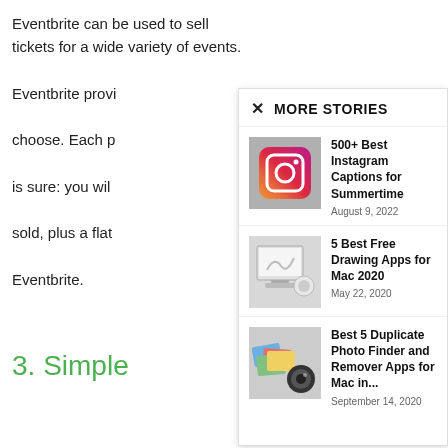Eventbrite can be used to sell tickets for a wide variety of events. Eventbrite provides the ticket selling platform for a ticket choose. Each [text continues] is sure: you will [text continues] sold, plus a flat [text continues] Eventbrite.
3. Simple[text cut off]
[Figure (screenshot): MORE STORIES overlay panel with close button (×) showing three article links: '500+ Best Instagram Captions for Summertime' (August 9, 2022), '5 Best Free Drawing Apps for Mac 2020' (May 22, 2020), 'Best 5 Duplicate Photo Finder and Remover Apps for Mac in...' (September 14, 2020), each with a thumbnail image.]